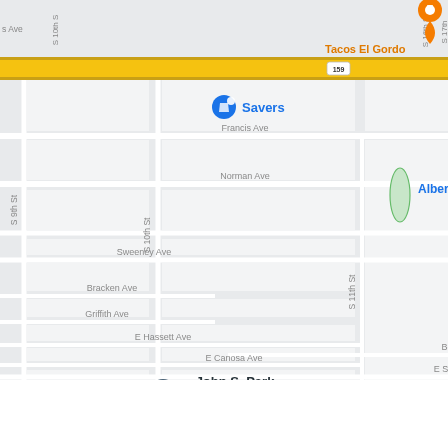[Figure (map): Google Maps screenshot showing a neighborhood in what appears to be Las Vegas/Nevada area. Features streets including Francis Ave, Norman Ave, Sweeney Ave, Bracken Ave, Griffith Ave, Wengert Ave, E Hassett Ave, E Canosa Ave, Bonita Ave, E St Louis Ave. Named locations include John S. Park Elementary School, Crestwood Elementary School, Innovations International Charter School, Global Community High School, Huntridge (location pin), Savers (store with pin), Tacos El Gordo (restaurant). Street labels include S 9th St, S 10th St, S 11th St, S 15th St, S 16th St, S 17th St, Chapman Dr, Hillside Pl, Curtis Dr. Route 159 highway shown at top. Green tree park icon at bottom left. Orange location pin at top center. Blue Savers shopping pin at upper left.]